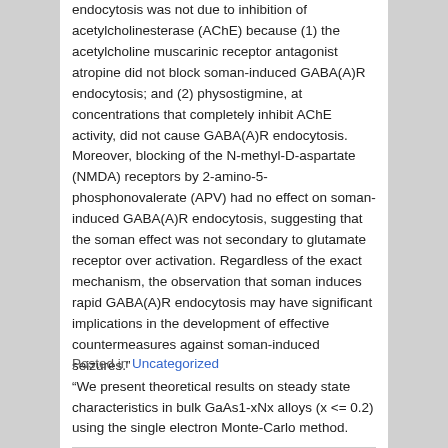endocytosis was not due to inhibition of acetylcholinesterase (AChE) because (1) the acetylcholine muscarinic receptor antagonist atropine did not block soman-induced GABA(A)R endocytosis; and (2) physostigmine, at concentrations that completely inhibit AChE activity, did not cause GABA(A)R endocytosis. Moreover, blocking of the N-methyl-D-aspartate (NMDA) receptors by 2-amino-5-phosphonovalerate (APV) had no effect on soman-induced GABA(A)R endocytosis, suggesting that the soman effect was not secondary to glutamate receptor over activation. Regardless of the exact mechanism, the observation that soman induces rapid GABA(A)R endocytosis may have significant implications in the development of effective countermeasures against soman-induced seizures.” “We present theoretical results on steady state characteristics in bulk GaAs1-xNx alloys (x <= 0.2) using the single electron Monte-Carlo method.
Posted in Uncategorized